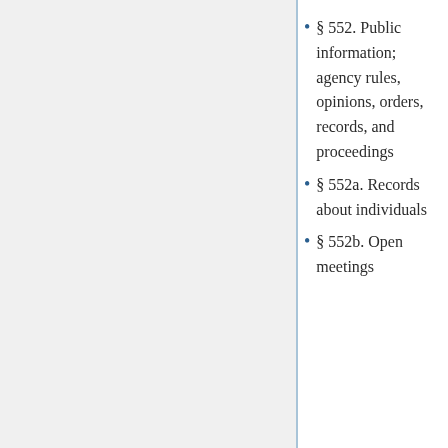§ 552. Public information; agency rules, opinions, orders, records, and proceedings
§ 552a. Records about individuals
§ 552b. Open meetings